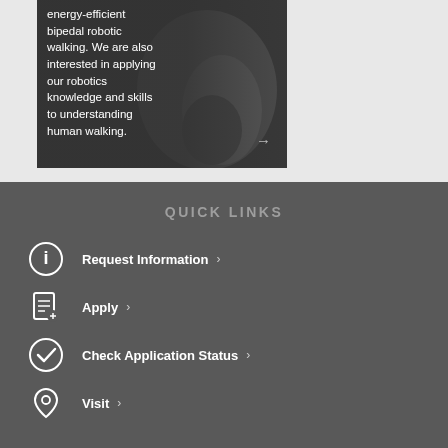[Figure (photo): Robotic walking device on dark background with overlay text about energy-efficient bipedal robotic walking research]
energy-efficient bipedal robotic walking. We are also interested in applying our robotics knowledge and skills to understanding human walking.
QUICK LINKS
Request Information ›
Apply ›
Check Application Status ›
Visit ›